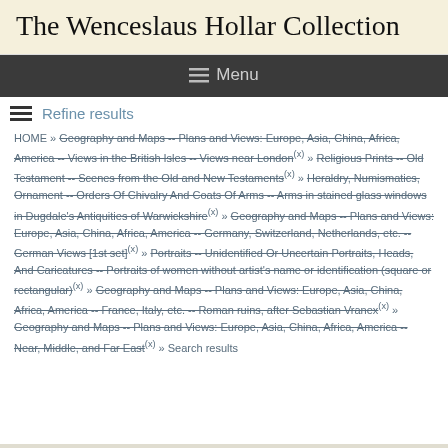The Wenceslaus Hollar Collection
☰ Menu
Refine results
HOME » Geography and Maps -- Plans and Views: Europe, Asia, China, Africa, America -- Views in the British Isles -- Views near London(x) » Religious Prints -- Old Testament -- Scenes from the Old and New Testaments(x) » Heraldry, Numismatics, Ornament -- Orders Of Chivalry And Coats Of Arms -- Arms in stained glass windows in Dugdale's Antiquities of Warwickshire(x) » Geography and Maps -- Plans and Views: Europe, Asia, China, Africa, America -- Germany, Switzerland, Netherlands, etc. -- German Views [1st set](x) » Portraits -- Unidentified Or Uncertain Portraits, Heads, And Caricatures -- Portraits of women without artist's name or identification (square or rectangular)(x) » Geography and Maps -- Plans and Views: Europe, Asia, China, Africa, America -- France, Italy, etc. -- Roman ruins, after Sebastian Vranex(x) » Geography and Maps -- Plans and Views: Europe, Asia, China, Africa, America -- Near, Middle, and Far East(x) » Search results